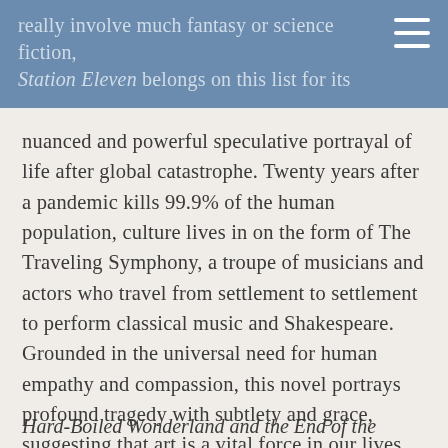really involve much fantasy or science fiction, Station Eleven belongs on this list for its
nuanced and powerful speculative portrayal of life after global catastrophe. Twenty years after a pandemic kills 99.9% of the human population, culture lives in on the form of The Traveling Symphony, a troupe of musicians and actors who travel from settlement to settlement to perform classical music and Shakespeare. Grounded in the universal need for human empathy and compassion, this novel portrays profound tragedy with subtlety and grace, suggesting that art is a vital force in our lives, capable of enduring even the greatest calamities.
Hard-Boiled Wonderland and the End of the World,